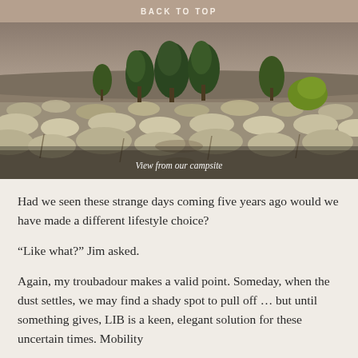BACK TO TOP
[Figure (photo): Landscape photo showing a high desert scrubland scene with sagebrush in the foreground and dark green juniper or cedar trees in the background under an overcast sky. Caption reads 'View from our campsite'.]
View from our campsite
Had we seen these strange days coming five years ago would we have made a different lifestyle choice?
“Like what?” Jim asked.
Again, my troubadour makes a valid point. Someday, when the dust settles, we may find a shady spot to pull off … but until something gives, LIB is a keen, elegant solution for these uncertain times. Mobility